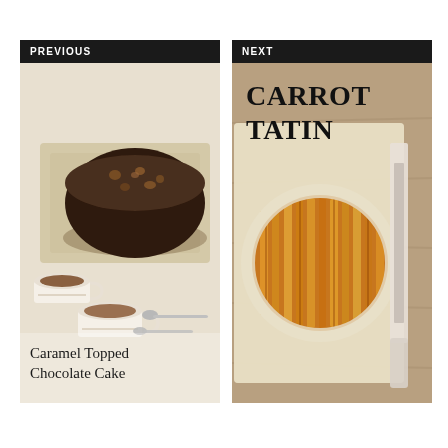PREVIOUS
[Figure (photo): Photo of a round caramel-topped chocolate cake on a linen cloth, with two espresso cups and spoons in the foreground. Text overlay reads 'Caramel Topped Chocolate Cake'.]
NEXT
[Figure (photo): Photo of a carrot tatin on parchment paper on a wooden surface, with a knife to the right. Bold text overlay reads 'CARROT TATIN'.]